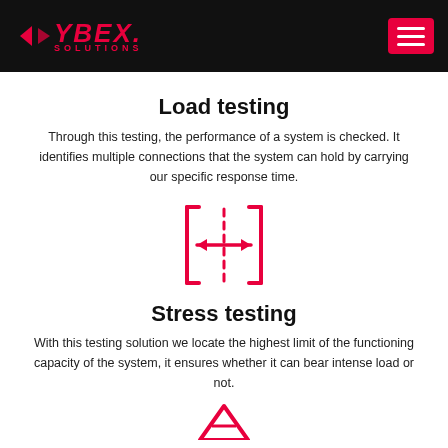CYBEX. SOLUTIONS — navigation header
Load testing
Through this testing, the performance of a system is checked. It identifies multiple connections that the system can hold by carrying our specific response time.
[Figure (illustration): Two square brackets facing each other with a dashed vertical divider and a double-headed horizontal arrow in the middle, rendered in crimson/red outline]
Stress testing
With this testing solution we locate the highest limit of the functioning capacity of the system, it ensures whether it can bear intense load or not.
[Figure (illustration): Partial view of a red pencil/edit icon at bottom of page]